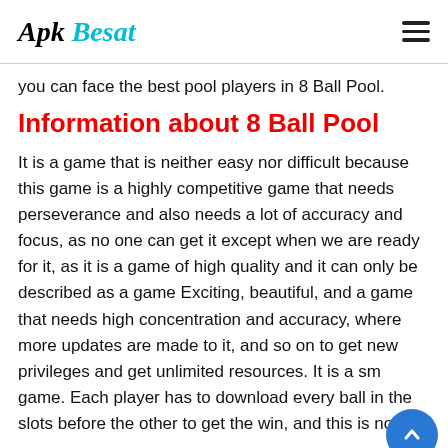Apk Besat
you can face the best pool players in 8 Ball Pool.
Information about 8 Ball Pool
It is a game that is neither easy nor difficult because this game is a highly competitive game that needs perseverance and also needs a lot of accuracy and focus, as no one can get it except when we are ready for it, as it is a game of high quality and it can only be described as a game Exciting, beautiful, and a game that needs high concentration and accuracy, where more updates are made to it, and so on to get new privileges and get unlimited resources. It is a small game. Each player has to download every ball in the slots before the other to get the win, and this is not